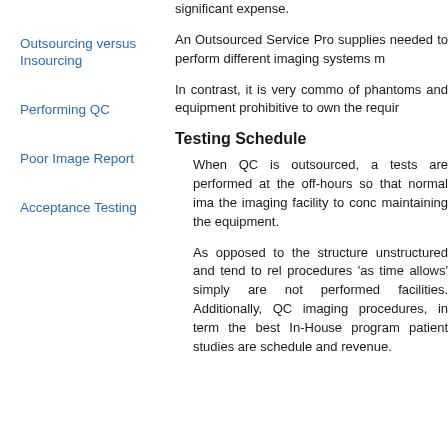significant expense.
Outsourcing versus Insourcing
An Outsourced Service Pro supplies needed to perform different imaging systems m
Performing QC
In contrast, it is very commo of phantoms and equipment prohibitive to own the requir
Poor Image Report
Testing Schedule
Acceptance Testing
When QC is outsourced, a tests are performed at the off-hours so that normal ima the imaging facility to conc maintaining the equipment.
As opposed to the structure unstructured and tend to rel procedures 'as time allows' simply are not performed facilities. Additionally, QC imaging procedures, in term the best In-House program patient studies are schedule and revenue.